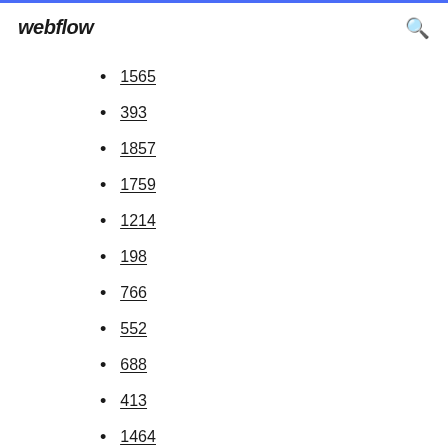webflow
1565
393
1857
1759
1214
198
766
552
688
413
1464
857